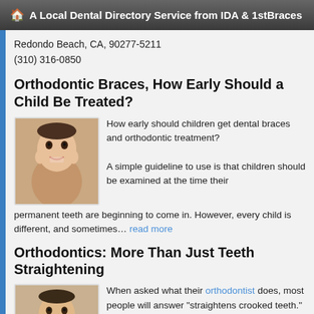A Local Dental Directory Service from IDA & 1stBraces
Redondo Beach, CA, 90277-5211
(310) 316-0850
Orthodontic Braces, How Early Should a Child Be Treated?
[Figure (photo): Photo of a smiling teenage girl]
How early should children get dental braces and orthodontic treatment?

A simple guideline to use is that children should be examined at the time their permanent teeth are beginning to come in. However, every child is different, and sometimes... read more
Orthodontics: More Than Just Teeth Straightening
[Figure (photo): Photo of a smiling teenage boy with braces]
When asked what their orthodontist does, most people will answer "straightens crooked teeth." Yet there's a good deal more to it than that.